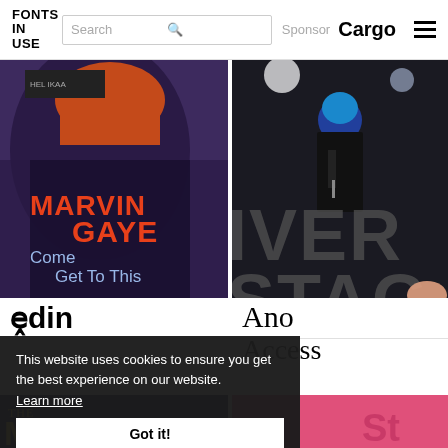FONTS IN USE | Search | Sponsor Cargo
[Figure (photo): Marvin Gaye 'Come Get To This' album cover with purple tones and orange/blue text]
[Figure (photo): Concert photo at River Stage with performer with blue hair, dark background with large grey letters RIVER STAGE]
Odin
Ano
Access
[Figure (photo): Bottom left thumbnail showing 'THE MUSIC MAN' text]
[Figure (photo): Bottom right thumbnail with pink/red tones]
This website uses cookies to ensure you get the best experience on our website. Learn more
Got it!